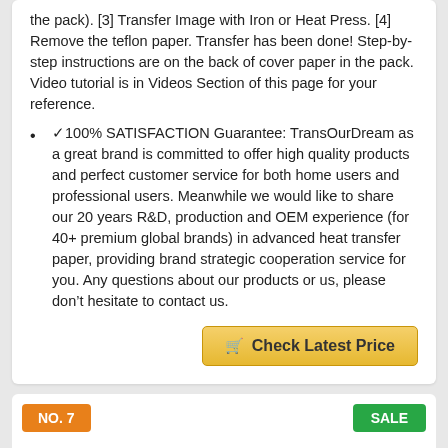the pack). [3] Transfer Image with Iron or Heat Press. [4] Remove the teflon paper. Transfer has been done! Step-by-step instructions are on the back of cover paper in the pack. Video tutorial is in Videos Section of this page for your reference.
✓100% SATISFACTION Guarantee: TransOurDream as a great brand is committed to offer high quality products and perfect customer service for both home users and professional users. Meanwhile we would like to share our 20 years R&D, production and OEM experience (for 40+ premium global brands) in advanced heat transfer paper, providing brand strategic cooperation service for you. Any questions about our products or us, please don't hesitate to contact us.
Check Latest Price
NO. 7
SALE